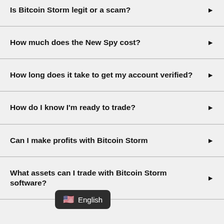Is Bitcoin Storm legit or a scam?
How much does the New Spy cost?
How long does it take to get my account verified?
How do I know I'm ready to trade?
Can I make profits with Bitcoin Storm
What assets can I trade with Bitcoin Storm software?
English